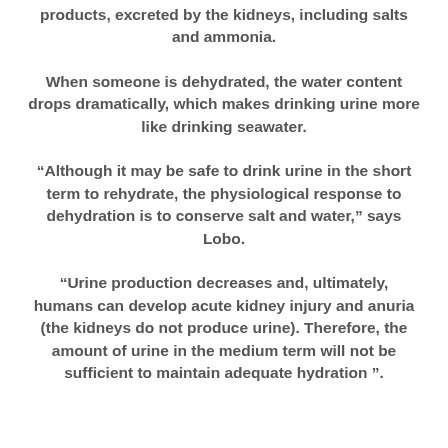products, excreted by the kidneys, including salts and ammonia.
When someone is dehydrated, the water content drops dramatically, which makes drinking urine more like drinking seawater.
“Although it may be safe to drink urine in the short term to rehydrate, the physiological response to dehydration is to conserve salt and water,” says Lobo.
“Urine production decreases and, ultimately, humans can develop acute kidney injury and anuria (the kidneys do not produce urine). Therefore, the amount of urine in the medium term will not be sufficient to maintain adequate hydration ”.